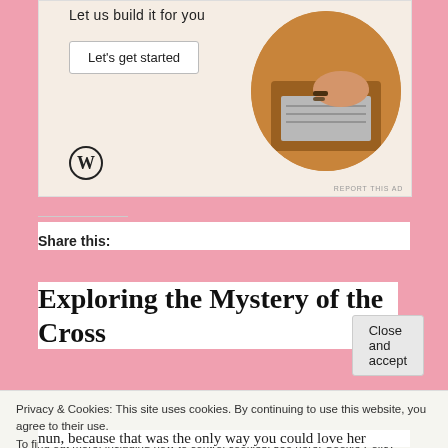[Figure (screenshot): WordPress advertisement with text 'Let us build it for you', a 'Let's get started' button, WordPress logo, and circular photo of hands typing on laptop]
Share this:
Exploring the Mystery of the Cross
Privacy & Cookies: This site uses cookies. By continuing to use this website, you agree to their use.
To find out more, including how to control cookies, see here: Cookie Policy
Close and accept
nun, because that was the only way you could love her